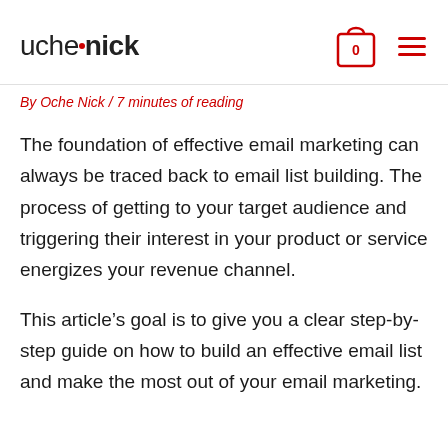uchenick
By Oche Nick / 7 minutes of reading
The foundation of effective email marketing can always be traced back to email list building. The process of getting to your target audience and triggering their interest in your product or service energizes your revenue channel.
This article’s goal is to give you a clear step-by-step guide on how to build an effective email list and make the most out of your email marketing.